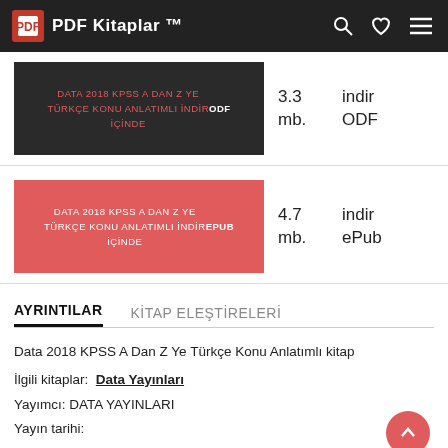PDF Kitaplar ™
DATA 2018 KPSS A DAN Z YE TÜRKÇE KONU ANLATIMLI İNDİR İÇİNDE ODF
3.3 mb.
indir ODF
DATA 2018 KPSS A DAN Z YE TÜRKÇE KONU ANLATIMLI İNDİR İÇİNDE EPUB
4.7 mb.
indir ePub
AYRINTILAR
KİTAP ELEŞTİRELERİ
Data 2018 KPSS A Dan Z Ye Türkçe Konu Anlatımlı kitap
İlgili kitaplar:  Data Yayınları
Yayımcı: DATA YAYINLARI
Yayın tarihi: